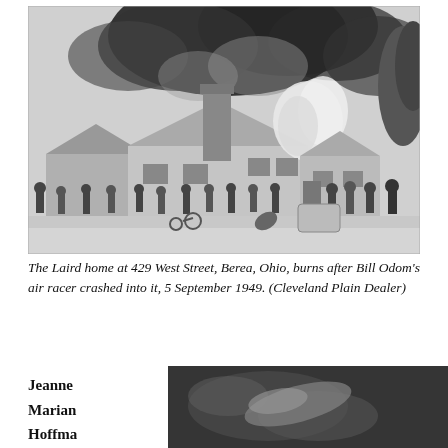[Figure (photo): Black and white photograph of the Laird home at 429 West Street, Berea, Ohio on fire, with large plumes of black smoke, crowds of people on the lawn, and various items scattered outside.]
The Laird home at 429 West Street, Berea, Ohio, burns after Bill Odom's air racer crashed into it, 5 September 1949. (Cleveland Plain Dealer)
Jeanne Marian Hoffma
[Figure (photo): Black and white photograph, partially visible, appears to show a person or figure outdoors.]